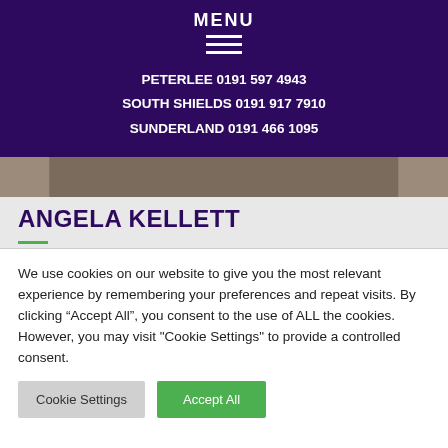MENU
PETERLEE 0191 597 4943
SOUTH SHIELDS 0191 917 7910
SUNDERLAND 0191 466 1095
[Figure (photo): Partial photo of a person wearing black, cropped strip]
ANGELA KELLETT
We use cookies on our website to give you the most relevant experience by remembering your preferences and repeat visits. By clicking "Accept All", you consent to the use of ALL the cookies. However, you may visit "Cookie Settings" to provide a controlled consent.
Cookie Settings | Accept All